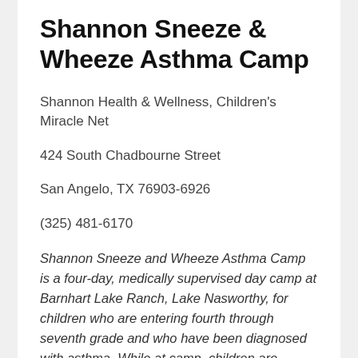Shannon Sneeze & Wheeze Asthma Camp
Shannon Health & Wellness, Children's Miracle Net
424 South Chadbourne Street
San Angelo, TX 76903-6926
(325) 481-6170
Shannon Sneeze and Wheeze Asthma Camp is a four-day, medically supervised day camp at Barnhart Lake Ranch, Lake Nasworthy, for children who are entering fourth through seventh grade and who have been diagnosed with asthma. While at camp, children are encouraged to participate in all camp